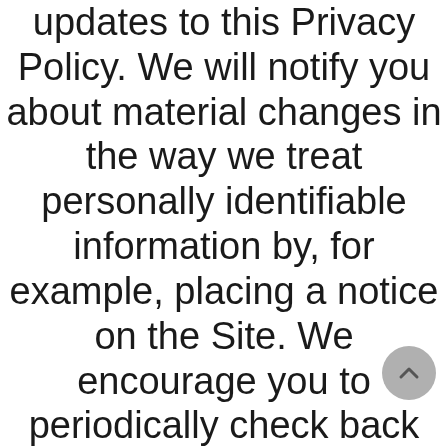updates to this Privacy Policy. We will notify you about material changes in the way we treat personally identifiable information by, for example, placing a notice on the Site. We encourage you to periodically check back and review this Privacy Policy so that you always will know what information we collect, how we use it, and to whom we disclose it. Your continued use of the Site following any changes to this Privacy Policy will be deemed to constitute your acceptance of such change